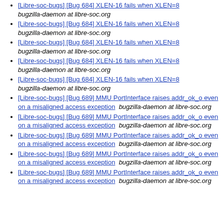[Libre-soc-bugs] [Bug 684] XLEN-16 fails when XLEN=8  bugzilla-daemon at libre-soc.org
[Libre-soc-bugs] [Bug 684] XLEN-16 fails when XLEN=8  bugzilla-daemon at libre-soc.org
[Libre-soc-bugs] [Bug 684] XLEN-16 fails when XLEN=8  bugzilla-daemon at libre-soc.org
[Libre-soc-bugs] [Bug 684] XLEN-16 fails when XLEN=8  bugzilla-daemon at libre-soc.org
[Libre-soc-bugs] [Bug 684] XLEN-16 fails when XLEN=8  bugzilla-daemon at libre-soc.org
[Libre-soc-bugs] [Bug 689] MMU PortInterface raises addr_ok_o even on a misaligned access exception  bugzilla-daemon at libre-soc.org
[Libre-soc-bugs] [Bug 689] MMU PortInterface raises addr_ok_o even on a misaligned access exception  bugzilla-daemon at libre-soc.org
[Libre-soc-bugs] [Bug 689] MMU PortInterface raises addr_ok_o even on a misaligned access exception  bugzilla-daemon at libre-soc.org
[Libre-soc-bugs] [Bug 689] MMU PortInterface raises addr_ok_o even on a misaligned access exception  bugzilla-daemon at libre-soc.org
[Libre-soc-bugs] [Bug 689] MMU PortInterface raises addr_ok_o even on a misaligned access exception  bugzilla-daemon at libre-soc.org